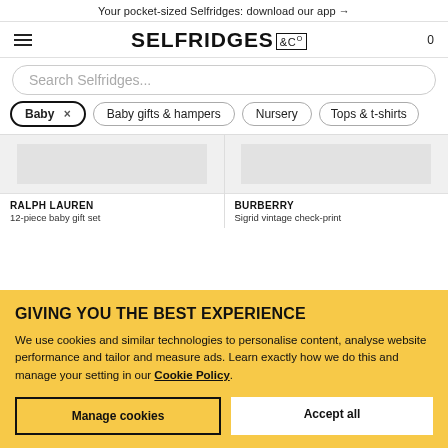Your pocket-sized Selfridges: download our app →
[Figure (logo): Selfridges &Co logo with hamburger menu icon on left and cart count '0' on right]
Search Selfridges...
Baby ×
Baby gifts & hampers
Nursery
Tops & t-shirts
[Figure (photo): Ralph Lauren 12-piece baby gift set product image (grey placeholder)]
RALPH LAUREN
12-piece baby gift set
[Figure (photo): Burberry Sigrid vintage check print product image (grey placeholder)]
BURBERRY
Sigrid vintage check-print
GIVING YOU THE BEST EXPERIENCE
We use cookies and similar technologies to personalise content, analyse website performance and tailor and measure ads. Learn exactly how we do this and manage your setting in our Cookie Policy.
Manage cookies
Accept all